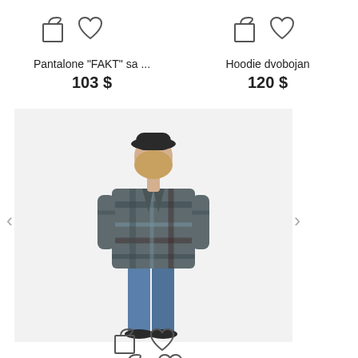[Figure (screenshot): E-commerce product listing page showing two product cards at the top with shopping bag and heart icons, product names and prices, and a product photo of a woman wearing a plaid coat with blue jeans below.]
Pantalone "FAKT" sa ...
103 $
Hoodie dvobojan
120 $